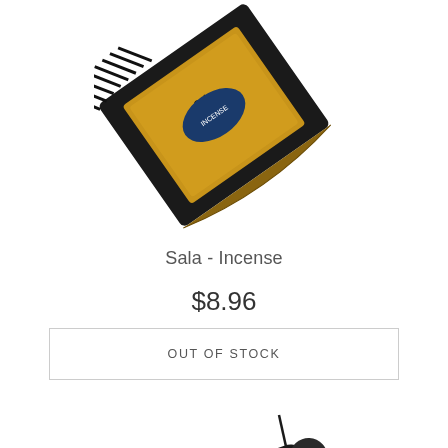[Figure (photo): Product photo of Sala incense sticks in gold/black packaging, shown diagonally against white background]
Sala - Incense
$8.96
OUT OF STOCK
[Figure (photo): Product photo of decorative incense sticks with blue Japanese wave pattern tube and black cylindrical container, with single incense stick leaning against it]